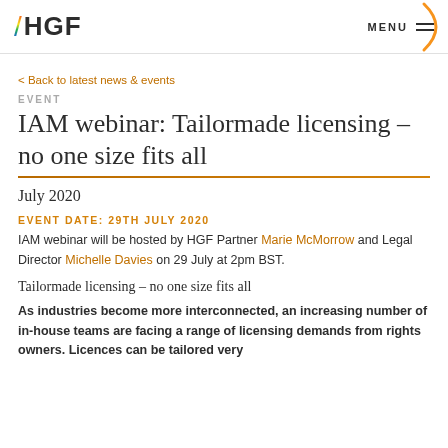HGF
< Back to latest news & events
EVENT
IAM webinar: Tailormade licensing – no one size fits all
July 2020
EVENT DATE: 29TH JULY 2020
IAM webinar will be hosted by HGF Partner Marie McMorrow and Legal Director Michelle Davies on 29 July at 2pm BST.
Tailormade licensing – no one size fits all
As industries become more interconnected, an increasing number of in-house teams are facing a range of licensing demands from rights owners. Licences can be tailored very